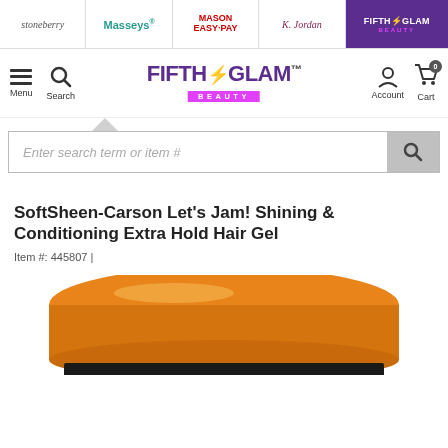stoneberry | Masseys | MASON EASY-PAY | K. Jordan | FIFTH GLAM BEAUTY
[Figure (screenshot): Fifth Glam Beauty website navigation bar with logo, menu, search, account, and cart icons]
Enter search term or item #
SoftSheen-Carson Let's Jam! Shining & Conditioning Extra Hold Hair Gel
Item #: 445807 |
[Figure (photo): Orange lid of SoftSheen-Carson Let's Jam hair gel jar, partially cropped at bottom of page]